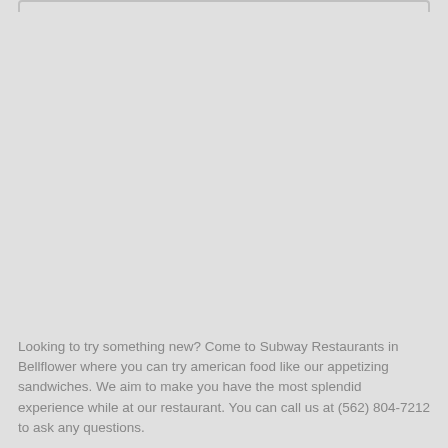Looking to try something new? Come to Subway Restaurants in Bellflower where you can try american food like our appetizing sandwiches. We aim to make you have the most splendid experience while at our restaurant. You can call us at (562) 804-7212 to ask any questions.